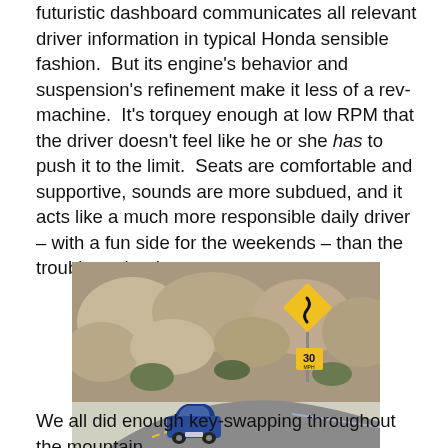futuristic dashboard communicates all relevant driver information in typical Honda sensible fashion.  But its engine's behavior and suspension's refinement make it less of a rev-machine.  It's torquey enough at low RPM that the driver doesn't feel like he or she has to push it to the limit.  Seats are comfortable and supportive, sounds are more subdued, and it acts like a much more responsible daily driver – with a fun side for the weekends – than the trouble-maker Integra.
[Figure (photo): A blue Honda sedan driving on a winding mountain road with rocky hillside and a yellow winding road sign and 30 MPH speed limit sign visible.]
We all did enough key-swapping throughout the mountain